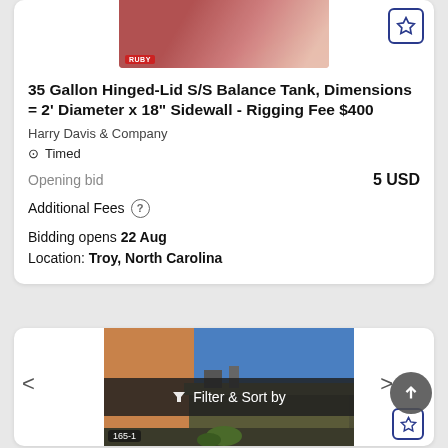[Figure (photo): Photo of a stainless steel balance tank lid, close-up, reddish/pink background. Ruby label in bottom left.]
35 Gallon Hinged-Lid S/S Balance Tank, Dimensions = 2' Diameter x 18" Sidewall - Rigging Fee $400
Harry Davis & Company
⊙ Timed
Opening bid   5 USD
Additional Fees ?
Bidding opens 22 Aug
Location: Troy, North Carolina
[Figure (photo): Photo of industrial equipment on a workbench against a blue wall. Filter & Sort by overlay visible. Label 165-1 in bottom left.]